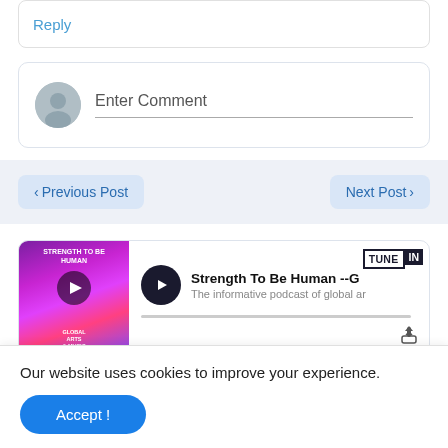Reply
Enter Comment
< Previous Post
Next Post >
[Figure (screenshot): TuneIn podcast widget showing 'Strength To Be Human' podcast with play button, thumbnail image, and TuneIn logo]
Our website uses cookies to improve your experience.
Accept !